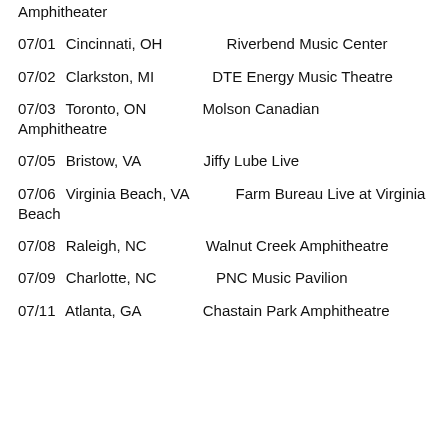Amphitheater
07/01  Cincinnati, OH        Riverbend Music Center
07/02  Clarkston, MI           DTE Energy Music Theatre
07/03  Toronto, ON            Molson Canadian Amphitheatre
07/05  Bristow, VA             Jiffy Lube Live
07/06  Virginia Beach, VA   Farm Bureau Live at Virginia Beach
07/08  Raleigh, NC             Walnut Creek Amphitheatre
07/09  Charlotte, NC           PNC Music Pavilion
07/11  Atlanta, GA             Chastain Park Amphitheatre